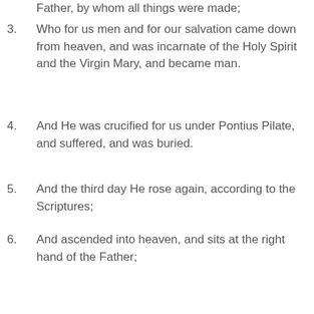Father, by whom all things were made;
3. Who for us men and for our salvation came down from heaven, and was incarnate of the Holy Spirit and the Virgin Mary, and became man.
4. And He was crucified for us under Pontius Pilate, and suffered, and was buried.
5. And the third day He rose again, according to the Scriptures;
6. And ascended into heaven, and sits at the right hand of the Father;
7. And He shall come again with glory to judge the living and the dead; Whose Kingdom shall have no end.
8. And in the Holy Spirit, the Lord, the Giver of Life,